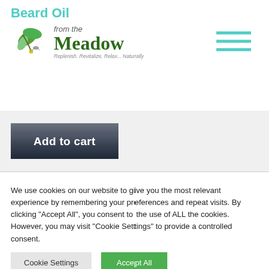Beard Oil from the Meadow — Replenish. Revitalize. Relax... Naturally
[Figure (logo): From the Meadow logo with green leaf icon and tagline: Replenish. Revitalize. Relax... Naturally]
Add to cart
We use cookies on our website to give you the most relevant experience by remembering your preferences and repeat visits. By clicking "Accept All", you consent to the use of ALL the cookies. However, you may visit "Cookie Settings" to provide a controlled consent.
Cookie Settings
Accept All